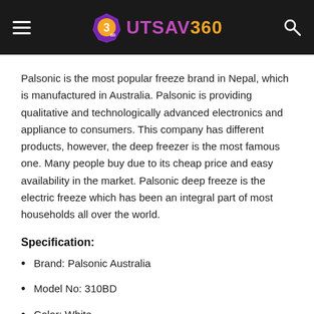UTSAV360
Palsonic is the most popular freeze brand in Nepal, which is manufactured in Australia. Palsonic is providing qualitative and technologically advanced electronics and appliance to consumers. This company has different products, however, the deep freezer is the most famous one. Many people buy due to its cheap price and easy availability in the market. Palsonic deep freeze is the electric freeze which has been an integral part of most households all over the world.
Specification:
Brand: Palsonic Australia
Model No: 310BD
Color: White